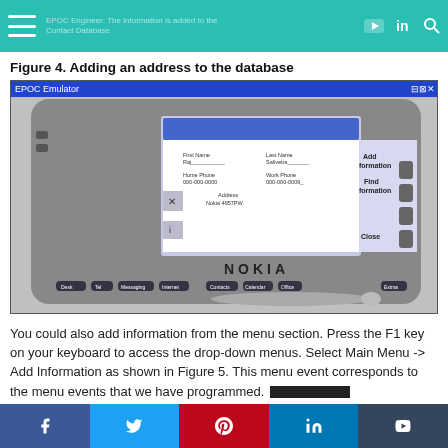EPOC Engineer: The information is added to the Contact Database
Figure 4. Adding an address to the database
[Figure (screenshot): Nokia EPOC Emulator screenshot showing a form to add contact information (First Name: Raj, Last Name: Salivetra, Home Phone: 000-000-0000, Work Phone: 000-000-0009, Address: [Nokia 4957PW]) with buttons Add Information, Find Information, Close on the right side. The device is a Nokia PDA/communicator.]
You could also add information from the menu section. Press the F1 key on your keyboard to access the drop-down menus. Select Main Menu -> Add Information as shown in Figure 5. This menu event corresponds to the menu events that we have programmed.
f  t  p  in  t